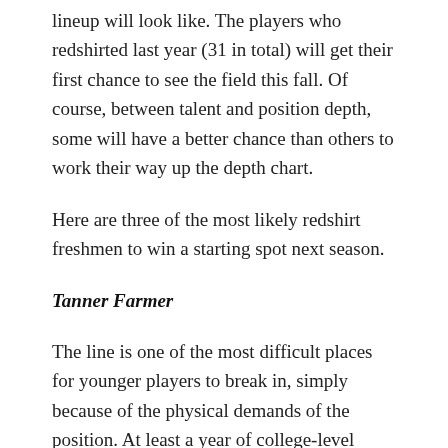lineup will look like. The players who redshirted last year (31 in total) will get their first chance to see the field this fall. Of course, between talent and position depth, some will have a better chance than others to work their way up the depth chart.
Here are three of the most likely redshirt freshmen to win a starting spot next season.
Tanner Farmer
The line is one of the most difficult places for younger players to break in, simply because of the physical demands of the position. At least a year of college-level weight training is usually required before linemen on both sides of the ball can usually be ready to stand up to the demands of the position.